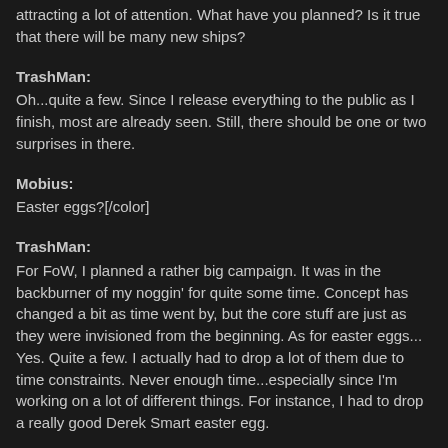attracting a lot of attention. What have you planned? Is it true that there will be many new ships?
TrashMan:
Oh...quite a few. Since I release everything to the public as I finish, most are already seen. Still, there should be one or two surprises in there.
Mobius:
Easter eggs?[/color]
TrashMan:
For FoW, I planned a rather big campaign. It was in the backburner of my noggin' for quite some time. Concept has changed a bit as time went by, but the core stuff are just as they were invisioned from the beginning. As for easter eggs... Yes. Quite a few. I actually had to drop a lot of them due to time constraints. Never enough time...especially since I'm working on a lot of different things. For instance, I had to drop a really good Derek Smart easter egg.